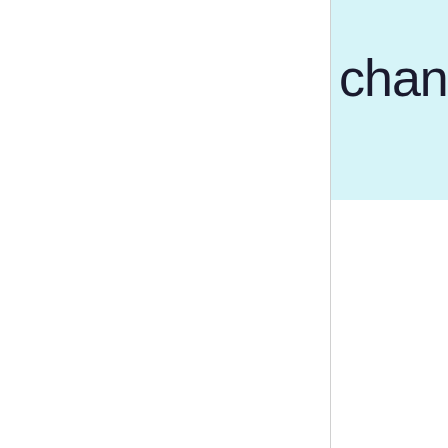[Figure (other): Partial view of a two-column layout page. Left column is white with a vertical divider line. Right column contains a light cyan/teal colored box at the top with the partial text 'chang' visible, suggesting this is a cropped view of a larger page where the word is cut off at the right edge.]